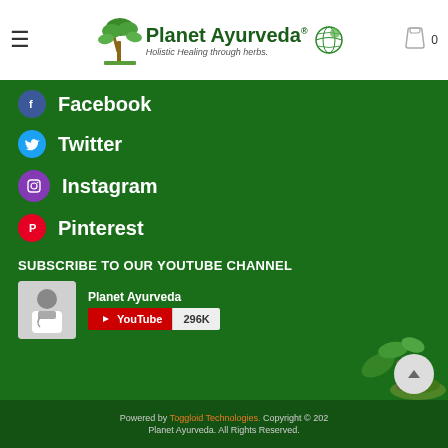Planet Ayurveda - Holistic Healing through herbs
Facebook
Twitter
Instagram
Pinterest
SUBSCRIBE TO OUR YOUTUBE CHANNEL
[Figure (screenshot): YouTube subscribe widget for Planet Ayurveda channel showing 296K subscribers]
Powered by Toggloid Technologies. Copyright © 2024 Planet Ayurveda. All Rights Reserved.